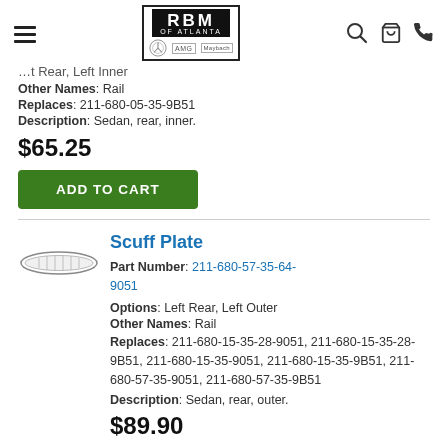RBM of Atlanta — navigation header with logo, search, cart, phone icons
…t Rear, Left Inner
Other Names: Rail
Replaces: 211-680-05-35-9B51
Description: Sedan, rear, inner.
$65.25
ADD TO CART
Scuff Plate
Part Number: 211-680-57-35-64-9051
Options: Left Rear, Left Outer
Other Names: Rail
Replaces: 211-680-15-35-28-9051, 211-680-15-35-28-9B51, 211-680-15-35-9051, 211-680-15-35-9B51, 211-680-57-35-9051, 211-680-57-35-9B51
Description: Sedan, rear, outer.
$89.90
[Figure (illustration): Line drawing of a scuff plate / door sill rail, oblong shape with ribbed surface]